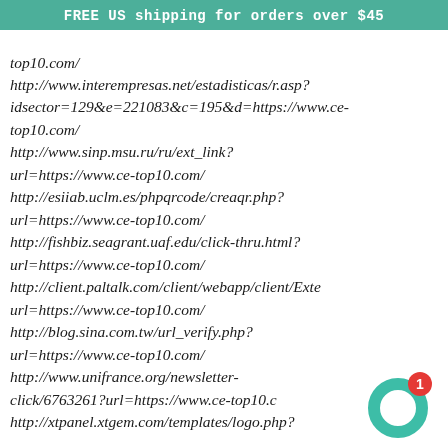FREE US shipping for orders over $45
top10.com/
http://www.interempresas.net/estadisticas/r.asp?idsector=129&e=221083&c=195&d=https://www.ce-top10.com/
http://www.sinp.msu.ru/ru/ext_link?url=https://www.ce-top10.com/
http://esiiab.uclm.es/phpqrcode/creaqr.php?url=https://www.ce-top10.com/
http://fishbiz.seagrant.uaf.edu/click-thru.html?url=https://www.ce-top10.com/
http://client.paltalk.com/client/webapp/client/Exte url=https://www.ce-top10.com/
http://blog.sina.com.tw/url_verify.php?url=https://www.ce-top10.com/
http://www.unifrance.org/newsletter-click/6763261?url=https://www.ce-top10.c
http://xtpanel.xtgem.com/templates/logo.php?